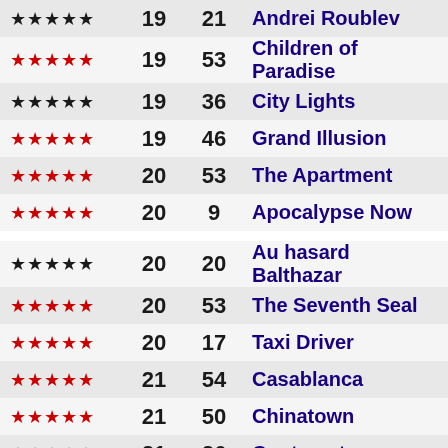| Stars | Num1 | Num2 | Title |
| --- | --- | --- | --- |
| ★★★★★ | 19 | 21 | Andrei Roublev |
| ★★★★★ | 19 | 53 | Children of Paradise |
| ★★★★★ | 19 | 36 | City Lights |
| ★★★★★ | 19 | 46 | Grand Illusion |
| ★★★★★ | 20 | 53 | The Apartment |
| ★★★★★ | 20 | 9 | Apocalypse Now |
| ★★★★★ | 20 | 20 | Au hasard Balthazar |
| ★★★★★ | 20 | 53 | The Seventh Seal |
| ★★★★★ | 20 | 17 | Taxi Driver |
| ★★★★★ | 21 | 54 | Casablanca |
| ★★★★★ | 21 | 50 | Chinatown |
| ★★★★★ | 21 | 26 | Contempt |